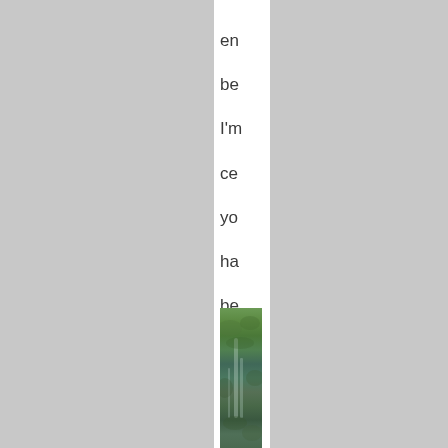en
be
I'm
ce
yo
ha
be
hi
to
do

An
he
go
[Figure (photo): A narrow vertical photograph showing a forested waterfall scene with green vegetation and running water]